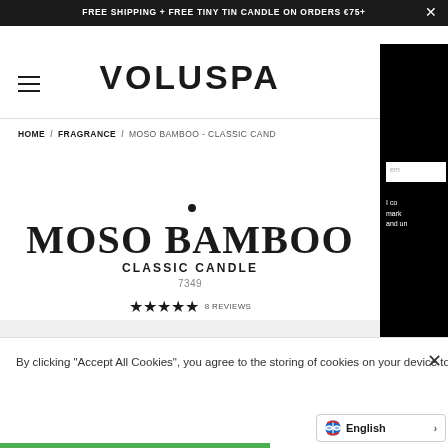FREE SHIPPING + FREE TINY TIN CANDLE ON ORDERS €75+
VOLUSPA
HOME / FRAGRANCE / MOSO BAMBOO - CLASSIC CAND...
MOSO BAMBOO
CLASSIC CANDLE
7349
★★★★★ 8 REVIEWS
By clicking "Accept All Cookies", you agree to the storing of cookies on your device to enhance site navigation, analyze site usage, and assist in our marketing efforts.
English